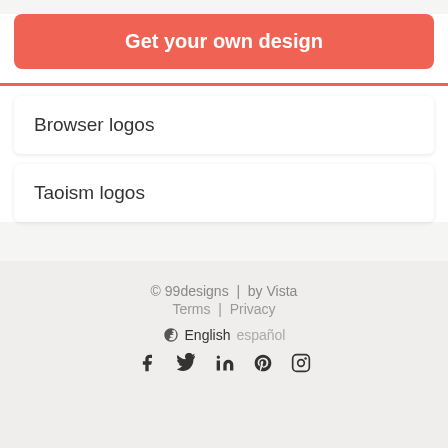Get your own design
Browser logos
Taoism logos
© 99designs | by Vista
Terms | Privacy
English español